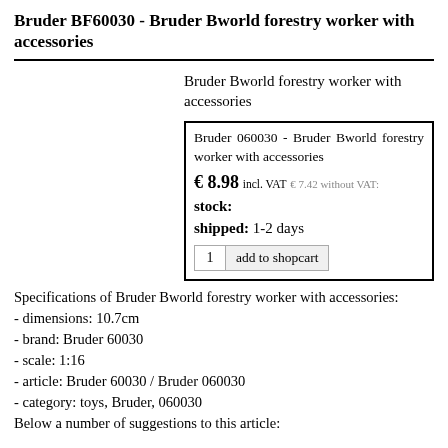Bruder BF60030 - Bruder Bworld forestry worker with accessories
Bruder Bworld forestry worker with accessories
Bruder 060030 - Bruder Bworld forestry worker with accessories
€ 8.98 incl. VAT  € 7.42 without VAT:
stock:
shipped: 1-2 days
1  add to shopcart
Specifications of Bruder Bworld forestry worker with accessories:
- dimensions: 10.7cm
- brand: Bruder 60030
- scale: 1:16
- article: Bruder 60030 / Bruder 060030
- category: toys, Bruder, 060030
Below a number of suggestions to this article: